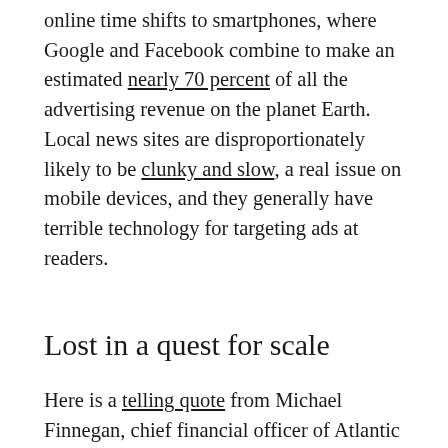online time shifts to smartphones, where Google and Facebook combine to make an estimated nearly 70 percent of all the advertising revenue on the planet Earth. Local news sites are disproportionately likely to be clunky and slow, a real issue on mobile devices, and they generally have terrible technology for targeting ads at readers.
Lost in a quest for scale
Here is a telling quote from Michael Finnegan, chief financial officer of Atlantic Media — a company that has negotiated the transition from print to digital about as well as anyone. He's talking about the possibilities of a